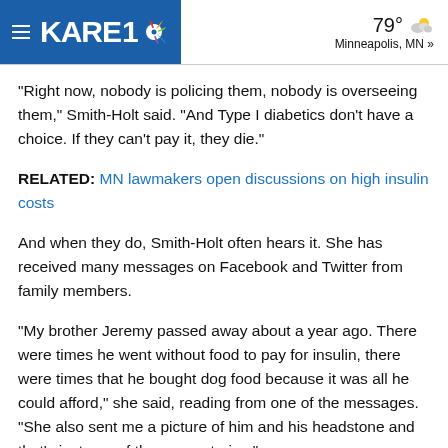KARE 11 | 79° Minneapolis, MN »
“Right now, nobody is policing them, nobody is overseeing them,” Smith-Holt said. “And Type I diabetics don't have a choice. If they can't pay it, they die.”
RELATED: MN lawmakers open discussions on high insulin costs
And when they do, Smith-Holt often hears it. She has received many messages on Facebook and Twitter from family members.
"My brother Jeremy passed away about a year ago. There were times he went without food to pay for insulin, there were times that he bought dog food because it was all he could afford," she said, reading from one of the messages. “She also sent me a picture of him and his headstone and that's just one of the many stories."